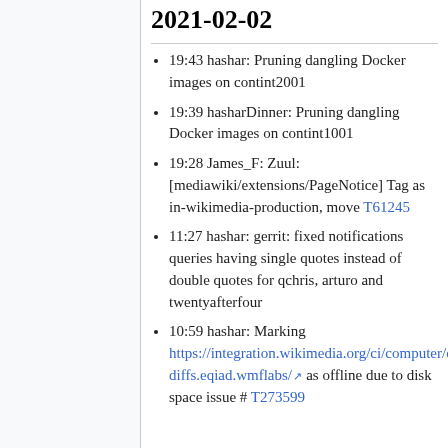2021-02-02
19:43 hashar: Pruning dangling Docker images on contint2001
19:39 hasharDinner: Pruning dangling Docker images on contint1001
19:28 James_F: Zuul: [mediawiki/extensions/PageNotice] Tag as in-wikimedia-production, move T61245
11:27 hashar: gerrit: fixed notifications queries having single quotes instead of double quotes for qchris, arturo and twentyafterfour
10:59 hashar: Marking https://integration.wikimedia.org/ci/computer/compiler1002.puppet-diffs.eqiad.wmflabs/ as offline due to disk space issue # T273599